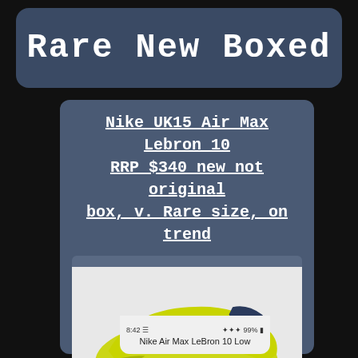Rare New Boxed
Nike UK15 Air Max Lebron 10 RRP $340 new not original box, v. Rare size, on trend
[Figure (photo): Yellow/green Nike Air Max LeBron 10 Low sneaker on white background, shown from the side, with eBay watermark at bottom]
8:42  99%  Nike Air Max LeBron 10 Low